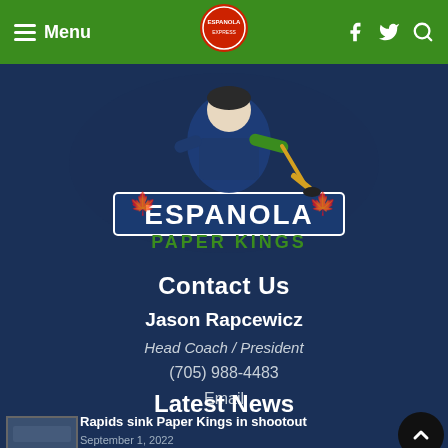Menu | [Espanola Express logo] | [Facebook] [Twitter] [Search]
[Figure (logo): Espanola Paper Kings hockey team logo featuring a player character holding a hockey stick with the text ESPANOLA and PAPER KINGS]
Contact Us
Jason Rapcewicz
Head Coach / President
(705) 988-4483
Email
Latest News
Rapids sink Paper Kings in shootout
September 1, 2022